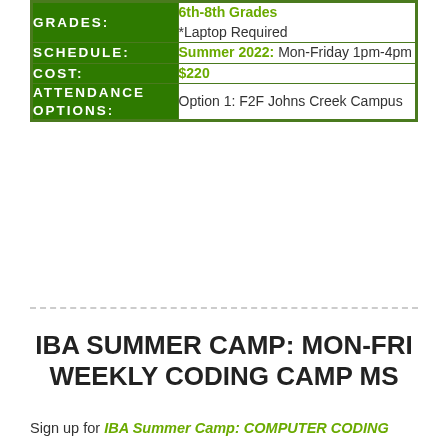| Label | Value |
| --- | --- |
| GRADES: | 6th-8th Grades
*Laptop Required |
| SCHEDULE: | Summer 2022: Mon-Friday 1pm-4pm |
| COST: | $220 |
| ATTENDANCE OPTIONS: | Option 1: F2F Johns Creek Campus |
IBA SUMMER CAMP: MON-FRI WEEKLY CODING CAMP MS
Sign up for IBA Summer Camp: COMPUTER CODING